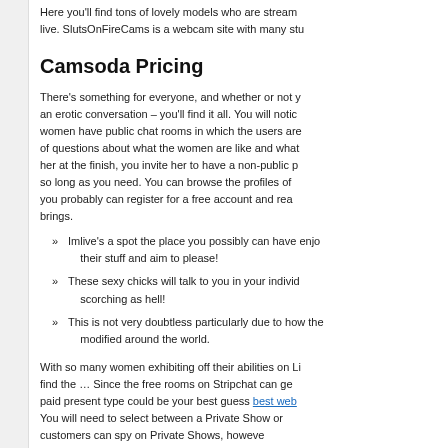Here you'll find tons of lovely models who are streaming live. SlutsOnFireCams is a webcam site with many stu
Camsoda Pricing
There's something for everyone, and whether or not you want an erotic conversation – you'll find it all. You will notice women have public chat rooms in which the users are of questions about what the women are like and what her at the finish, you invite her to have a non-public p so long as you need. You can browse the profiles of you probably can register for a free account and rea brings.
Imlive's a spot the place you possibly can have enjo their stuff and aim to please!
These sexy chicks will talk to you in your individ scorching as hell!
This is not very doubtless particularly due to how the modified around the world.
With so many women exhibiting off their abilities on Li find the … Since the free rooms on Stripchat can ge paid present type could be your best guess best web You will need to select between a Private Show or customers can spy on Private Shows, howeve